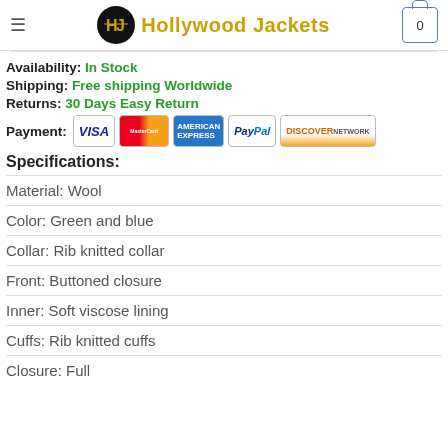Hollywood Jackets
Availability: In Stock
Shipping: Free shipping Worldwide
Returns: 30 Days Easy Return
Payment: VISA, MasterCard, American Express, PayPal, Discover
Specifications:
Material: Wool
Color: Green and blue
Collar: Rib knitted collar
Front: Buttoned closure
Inner: Soft viscose lining
Cuffs: Rib knitted cuffs
Closure: Full